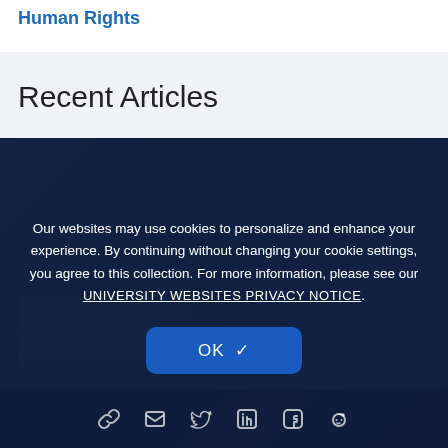Human Rights
Recent Articles
[Figure (screenshot): Cookie consent overlay modal over a dark blue background with a partially visible outdoor/truck scene. Text reads: 'Our websites may use cookies to personalize and enhance your experience. By continuing without changing your cookie settings, you agree to this collection. For more information, please see our UNIVERSITY WEBSITES PRIVACY NOTICE.' An OK button with a checkmark is shown, and social sharing icons (link, email, Twitter, LinkedIn, Facebook, Reddit) appear at the bottom.]